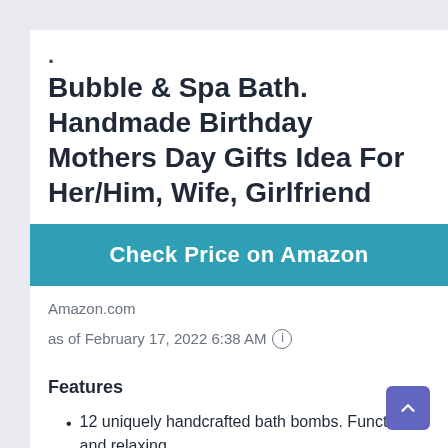Bubble & Spa Bath. Handmade Birthday Mothers Day Gifts Idea For Her/Him, Wife, Girlfriend
Check Price on Amazon
Amazon.com
as of February 17, 2022 6:38 AM ℹ
Features
12 uniquely handcrafted bath bombs. Functional and relaxing.